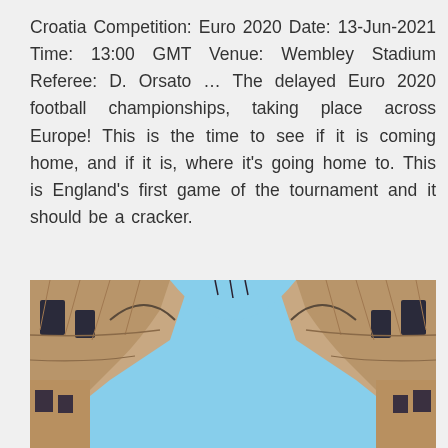Croatia Competition: Euro 2020 Date: 13-Jun-2021 Time: 13:00 GMT Venue: Wembley Stadium Referee: D. Orsato ... The delayed Euro 2020 football championships, taking place across Europe! This is the time to see if it is coming home, and if it is, where it's going home to. This is England's first game of the tournament and it should be a cracker.
[Figure (photo): An upward-looking photograph of ornate European-style building facades with arched stonework, warm tan/brown tones, wrought-iron details, and blue sky visible between the buildings in a heart or arch shape.]